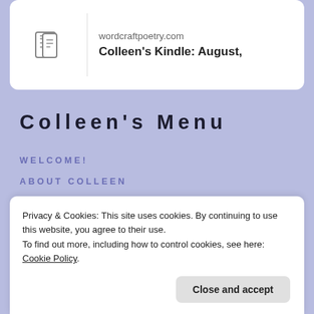[Figure (screenshot): Card with document icon, url wordcraftpoetry.com and title Colleen's Kindle: August,]
Colleen's Menu
WELCOME!
ABOUT COLLEEN
NOTES FROM COLLEEN
📚 COLLEEN'S BOOKSHELF 📚
Privacy & Cookies: This site uses cookies. By continuing to use this website, you agree to their use. To find out more, including how to control cookies, see here: Cookie Policy.
Close and accept